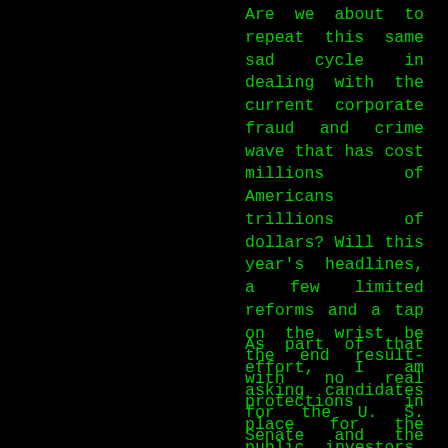Are we about to repeat this same sad cycle in dealing with the current corporate fraud and crime wave that has cost millions of Americans trillions of dollars? Will this year's headlines, a few limited reforms and a tap on the wrist be the end result-with no real protections in place for the public, investors, workers and the economy? We should not allow such a result. We need to prove that our political and economic system is better than that. We can make lasting-effective-change as citizens. This time, we need to keep the issues on the front burner until we have true reforms, not fake facsimiles that do nothing but lull the public into a false sense of security.
As part of that effort, I am asking candidates for the U. S. Senate and the House of Representatives this year to sign a 10-point pledge which contains provisions that will put teeth in the